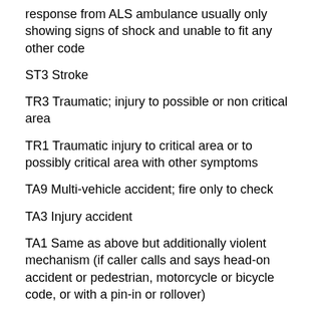response from ALS ambulance usually only showing signs of shock and unable to fit any other code
ST3 Stroke
TR3 Traumatic; injury to possible or non critical area
TR1 Traumatic injury to critical area or to possibly critical area with other symptoms
TA9 Multi-vehicle accident; fire only to check
TA3 Injury accident
TA1 Same as above but additionally violent mechanism (if caller calls and says head-on accident or pedestrian, motorcycle or bicycle code, or with a pin-in or rollover)
OD3 Overdose
OD1 Overdose and unconsious